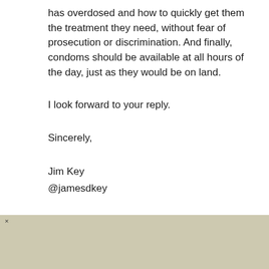has overdosed and how to quickly get them the treatment they need, without fear of prosecution or discrimination. And finally, condoms should be available at all hours of the day, just as they would be on land.
I look forward to your reply.
Sincerely,
Jim Key
@jamesdkey